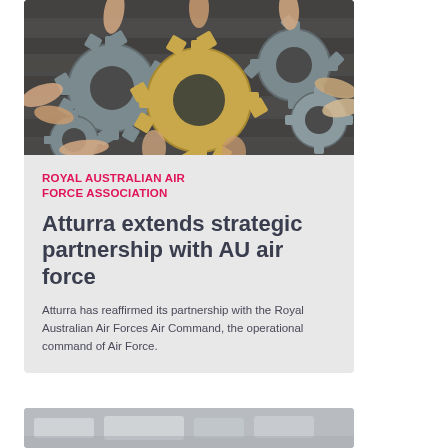[Figure (photo): Multiple hands holding and assembling large interlocking gears (grey and gold/bronze colored) against a dark wooden background, representing teamwork and strategic partnership.]
ROYAL AUSTRALIAN AIR FORCE ASSOCIATION
Atturra extends strategic partnership with AU air force
Atturra has reaffirmed its partnership with the Royal Australian Air Forces Air Command, the operational command of Air Force.
[Figure (photo): Partially visible image at the bottom of the page, appears to show a meeting or conference setting.]